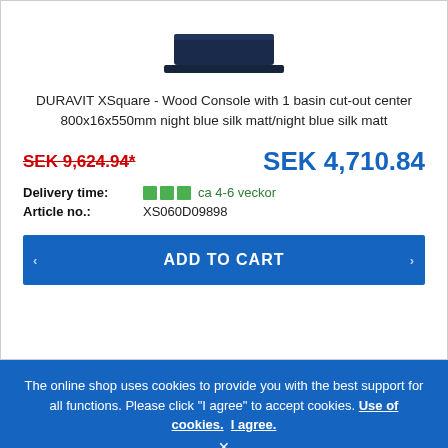[Figure (photo): Partial view of DURAVIT XSquare wood console product image in dark navy/night blue at top of card]
DURAVIT XSquare - Wood Console with 1 basin cut-out center 800x16x550mm night blue silk matt/night blue silk matt
SEK 9,624.94*
SEK 4,710.84
Delivery time: ca 4-6 veckor
Article no.: XS060D09898
ADD TO CART
The online shop uses cookies to provide you with the best support for all functions. Please click "I agree" to accept cookies. Use of cookies. I agree.
×